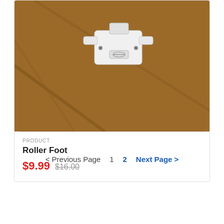[Figure (photo): White plastic roller presser foot for sewing machine, sitting on brown fabric/suede material.]
PRODUCT
Roller Foot
$9.99 $16.00
< Previous Page   1   2   Next Page >